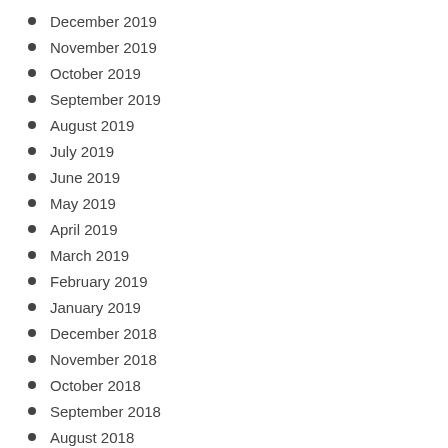December 2019
November 2019
October 2019
September 2019
August 2019
July 2019
June 2019
May 2019
April 2019
March 2019
February 2019
January 2019
December 2018
November 2018
October 2018
September 2018
August 2018